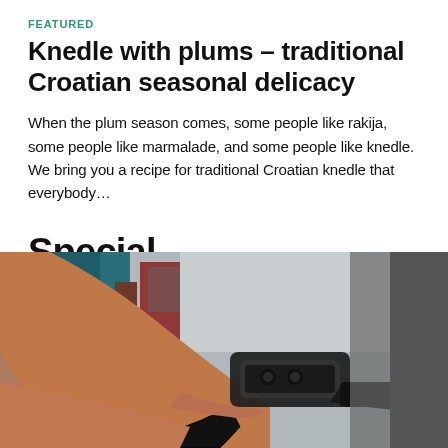FEATURED
Knedle with plums – traditional Croatian seasonal delicacy
When the plum season comes, some people like rakija, some people like marmalade, and some people like knedle. We bring you a recipe for traditional Croatian knedle that everybody…
Special
[Figure (photo): A person's hand holding a gas pump nozzle inserted into a car, photographed at a petrol station with blurred background.]